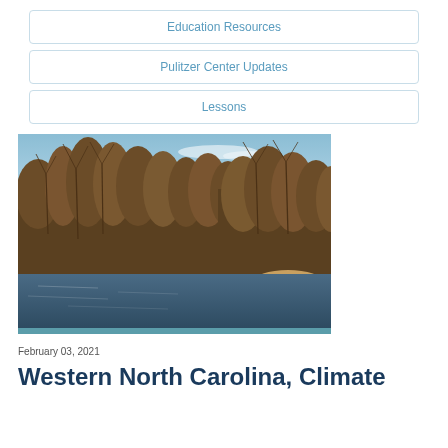Education Resources
Pulitzer Center Updates
Lessons
[Figure (photo): A river scene with bare winter trees lining both banks under a partly cloudy blue sky. The water is dark and calm in the foreground with a sandy bank visible on the right side.]
February 03, 2021
Western North Carolina, Climate